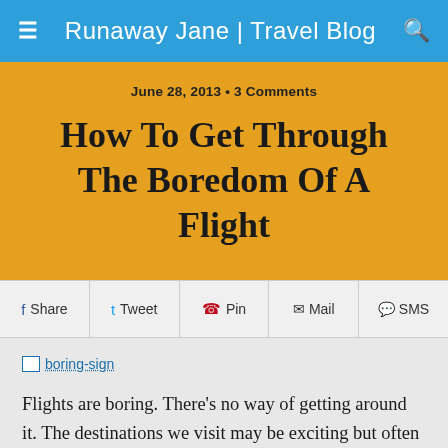Runaway Jane | Travel Blog
June 28, 2013 • 3 Comments
How To Get Through The Boredom Of A Flight
Share  Tweet  Pin  Mail  SMS
[Figure (other): Broken image placeholder link labeled 'boring-sign']
Flights are boring. There's no way of getting around it. The destinations we visit may be exciting but often the mode of getting there is not. So how do we...